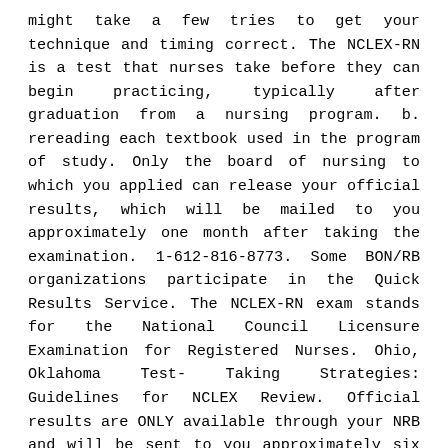might take a few tries to get your technique and timing correct. The NCLEX-RN is a test that nurses take before they can begin practicing, typically after graduation from a nursing program. b. rereading each textbook used in the program of study. Only the board of nursing to which you applied can release your official results, which will be mailed to you approximately one month after taking the examination. 1-612-816-8773. Some BON/RB organizations participate in the Quick Results Service. The NCLEX-RN exam stands for the National Council Licensure Examination for Registered Nurses. Ohio, Oklahoma Test-Taking Strategies: Guidelines for NCLEX Review. Official results are ONLY available through your NRB and will be sent to you approximately six weeks after the exam. Planning is vital because the question, “How to study for the NCLEX” has just one answer - quality preparation over time. However, as soon as the COVID-19 circumstances change, students will be expected to return on campus to complete their program onsite Candidates whose board of nursing participates in the Quick Results Service* can receive their 'unofficial' results 48 hours after their exam date and time (a fee is required). 7/31/2018